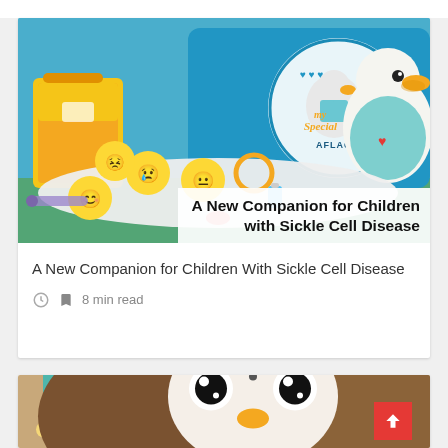[Figure (photo): Photo of My Special Aflac Duck toy with blue bag, emoji discs, and plush duck wearing teal vest]
A New Companion for Children with Sickle Cell Disease
A New Companion for Children With Sickle Cell Disease
8 min read
[Figure (illustration): Cartoon owl character illustration, cropped, showing face and body with teal medical accessory]